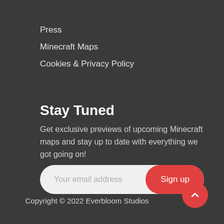Press
Minecraft Maps
Cookies & Privacy Policy
Stay Tuned
Get exclusive previews of upcoming Minecraft maps and stay up to date with everything we got going on!
[Figure (other): Email signup form with placeholder text 'Your email address' and a red 'Sign up' button]
Copyright © 2022 Everbloom Studios